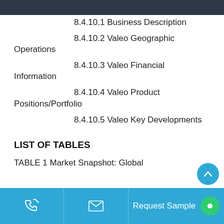8.4.10.1 Business Description
8.4.10.2 Valeo Geographic Operations
8.4.10.3 Valeo Financial Information
8.4.10.4 Valeo Product Positions/Portfolio
8.4.10.5 Valeo Key Developments
LIST OF TABLES
TABLE 1 Market Snapshot: Global